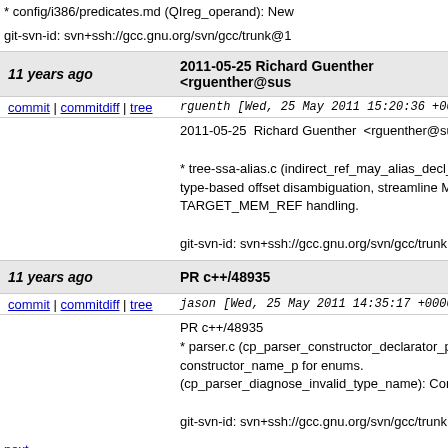* config/i386/predicates.md (QIreg_operand): New
git-svn-id: svn+ssh://gcc.gnu.org/svn/gcc/trunk@1
11 years ago
2011-05-25 Richard Guenther <rguenther@sus
commit | commitdiff | tree
rguenth [Wed, 25 May 2011 15:20:36 +0000
2011-05-25  Richard Guenther  <rguenther@suse

* tree-ssa-alias.c (indirect_ref_may_alias_decl_p):
type-based offset disambiguation, streamline MEM
TARGET_MEM_REF handling.

git-svn-id: svn+ssh://gcc.gnu.org/svn/gcc/trunk@1
11 years ago
PR c++/48935
commit | commitdiff | tree
jason [Wed, 25 May 2011 14:35:17 +0000 (
PR c++/48935
* parser.c (cp_parser_constructor_declarator_p): D
constructor_name_p for enums.
(cp_parser_diagnose_invalid_type_name): Correc

git-svn-id: svn+ssh://gcc.gnu.org/svn/gcc/trunk@1
next